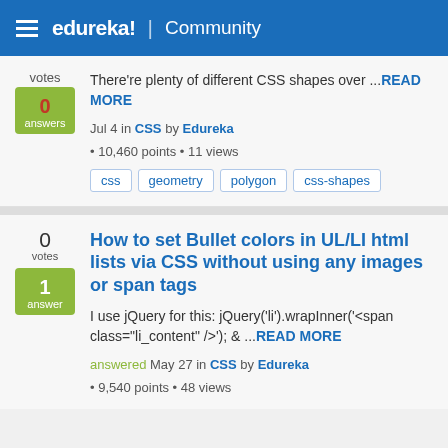edureka! Community
There're plenty of different CSS shapes over ...READ MORE
Jul 4 in CSS by Edureka
• 10,460 points • 11 views
css  geometry  polygon  css-shapes
How to set Bullet colors in UL/LI html lists via CSS without using any images or span tags
I use jQuery for this: jQuery('li').wrapInner('<span class="li_content" />'); & ...READ MORE
answered May 27 in CSS by Edureka
• 9,540 points • 48 views